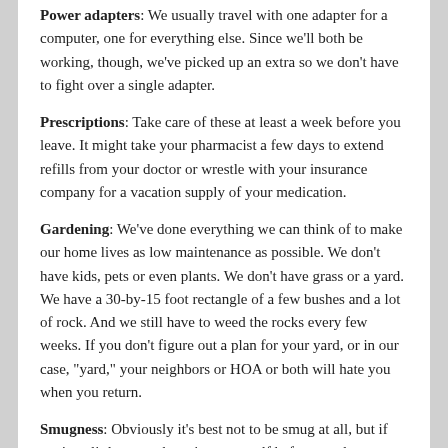Power adapters: We usually travel with one adapter for a computer, one for everything else. Since we'll both be working, though, we've picked up an extra so we don't have to fight over a single adapter.
Prescriptions: Take care of these at least a week before you leave. It might take your pharmacist a few days to extend refills from your doctor or wrestle with your insurance company for a vacation supply of your medication.
Gardening: We've done everything we can think of to make our home lives as low maintenance as possible. We don't have kids, pets or even plants. We don't have grass or a yard. We have a 30-by-15 foot rectangle of a few bushes and a lot of rock. And we still have to weed the rocks every few weeks. If you don't figure out a plan for your yard, or in our case, "yard," your neighbors or HOA or both will hate you when you return.
Smugness: Obviously it's best not to be smug at all, but if you're a little smug, keep it to yourself before you leave.